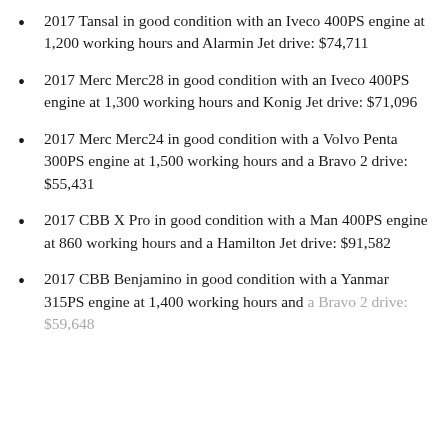2017 Tansal in good condition with an Iveco 400PS engine at 1,200 working hours and Alarmin Jet drive: $74,711
2017 Merc Merc28 in good condition with an Iveco 400PS engine at 1,300 working hours and Konig Jet drive: $71,096
2017 Merc Merc24 in good condition with a Volvo Penta 300PS engine at 1,500 working hours and a Bravo 2 drive: $55,431
2017 CBB X Pro in good condition with a Man 400PS engine at 860 working hours and a Hamilton Jet drive: $91,582
2017 CBB Benjamino in good condition with a Yanmar 315PS engine at 1,400 working hours and a Bravo 2 drive: $59,648